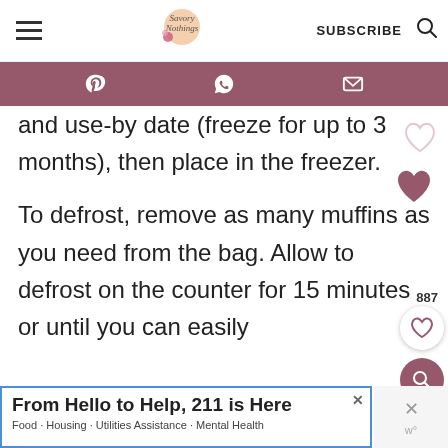Savory Nothings — SUBSCRIBE
and use-by date (freeze for up to 3 months), then place in the freezer.
To defrost, remove as many muffins as you need from the bag. Allow to defrost on the counter for 15 minutes or until you can easily
From Hello to Help, 211 is Here — Food · Housing · Utilities Assistance · Mental Health